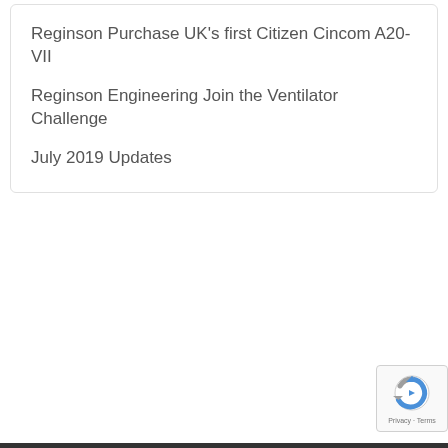Reginson Purchase UK's first Citizen Cincom A20-VII
Reginson Engineering Join the Ventilator Challenge
July 2019 Updates
[Figure (logo): reCAPTCHA badge with spinning arrow logo and Privacy - Terms text]